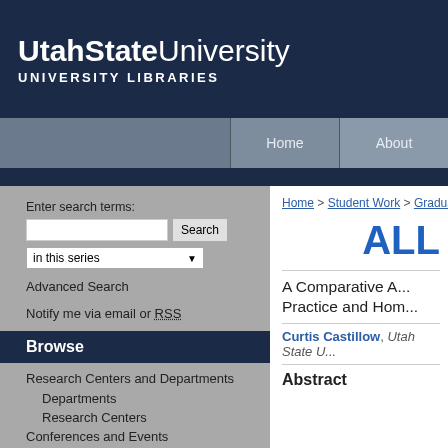UtahState University UNIVERSITY LIBRARIES
Home | About
Enter search terms:
in this series
Advanced Search
Notify me via email or RSS
Browse
Research Centers and Departments
Departments
Research Centers
Conferences and Events
Home > Student Work > Graduate...
ALL
A Comparative A... Practice and Hom...
Curtis Castillow, Utah State U...
Abstract